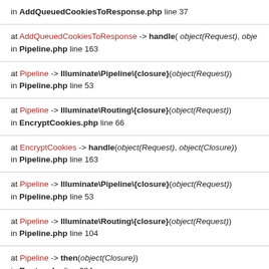in AddQueuedCookiesToResponse.php line 37
at AddQueuedCookiesToResponse -> handle( object(Request), object(...) )
in Pipeline.php line 163
at Pipeline -> Illuminate\Pipeline\{closure}( object(Request) )
in Pipeline.php line 53
at Pipeline -> Illuminate\Routing\{closure}( object(Request) )
in EncryptCookies.php line 66
at EncryptCookies -> handle( object(Request), object(Closure) )
in Pipeline.php line 163
at Pipeline -> Illuminate\Pipeline\{closure}( object(Request) )
in Pipeline.php line 53
at Pipeline -> Illuminate\Routing\{closure}( object(Request) )
in Pipeline.php line 104
at Pipeline -> then( object(Closure) )
in Router.php line 684
at Router -> runRouteWithinStack( object(Route), object(Request) )